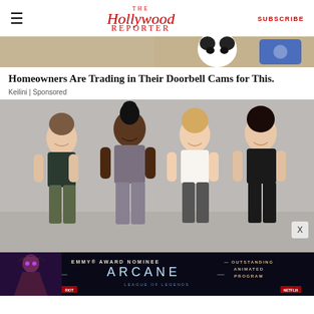The Hollywood Reporter | SUBSCRIBE
[Figure (photo): Top cropped advertisement image showing a partial view of a panda mascot on a tan/beige background with blue element]
Homeowners Are Trading in Their Doorbell Cams for This.
Keilini | Sponsored
[Figure (photo): Four women in athletic/workout wear (sports bras and leggings) smiling and posing together in front of a light gray wall]
[Figure (photo): Bottom banner advertisement for Arcane on Netflix: EMMY AWARD NOMINEE - ARCANE - OUTSTANDING ANIMATED PROGRAM, League of Legends branding, featuring a character illustration]